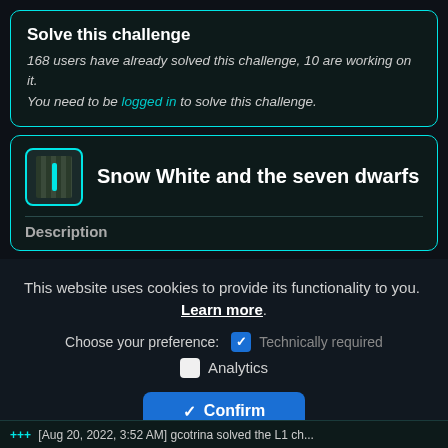Solve this challenge
168 users have already solved this challenge, 10 are working on it.
You need to be logged in to solve this challenge.
Snow White and the seven dwarfs
Description
This website uses cookies to provide its functionality to you. Learn more.
Choose your preference:  Technically required
Analytics
Confirm
+++ [Aug 20, 2022, 3:52 AM] gcotrina solved the L1 ch...